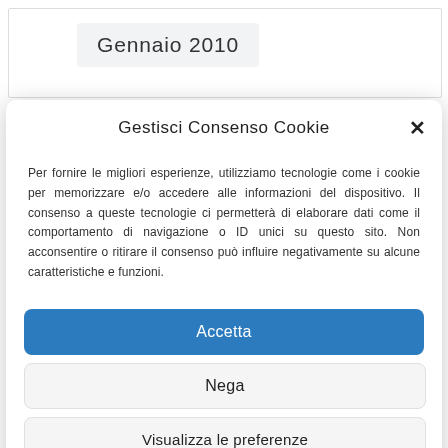Gennaio 2010
Gestisci Consenso Cookie
Per fornire le migliori esperienze, utilizziamo tecnologie come i cookie per memorizzare e/o accedere alle informazioni del dispositivo. Il consenso a queste tecnologie ci permetterà di elaborare dati come il comportamento di navigazione o ID unici su questo sito. Non acconsentire o ritirare il consenso può influire negativamente su alcune caratteristiche e funzioni.
Accetta
Nega
Visualizza le preferenze
Privacy Policy